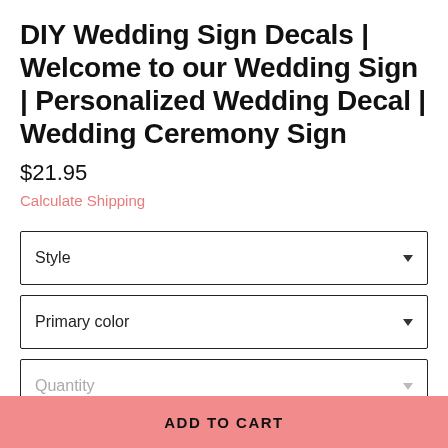DIY Wedding Sign Decals | Welcome to our Wedding Sign | Personalized Wedding Decal | Wedding Ceremony Sign
$21.95
Calculate Shipping
Style
Primary color
Quantity
ADD TO CART